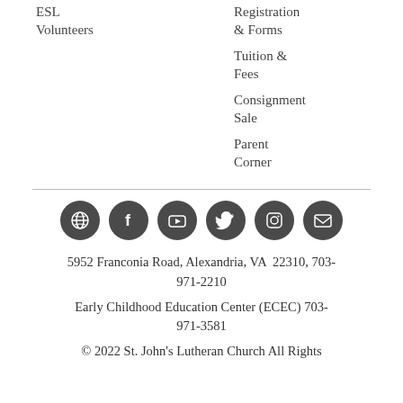ESL
Volunteers
Registration & Forms
Tuition & Fees
Consignment Sale
Parent Corner
[Figure (infographic): Row of six dark circular social media icons: globe/link, Facebook, YouTube, Twitter, Instagram, Email]
5952 Franconia Road, Alexandria, VA  22310, 703-971-2210
Early Childhood Education Center (ECEC) 703-971-3581
© 2022 St. John's Lutheran Church All Rights